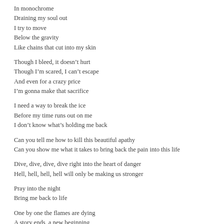In monochrome
Draining my soul out
I try to move
Below the gravity
Like chains that cut into my skin
Though I bleed, it doesn't hurt
Though I'm scared, I can't escape
And even for a crazy price
I'm gonna make that sacrifice
I need a way to break the ice
Before my time runs out on me
I don't know what's holding me back
Can you tell me how to kill this beautiful apathy
Can you show me what it takes to bring back the pain into this life
Dive, dive, dive, dive right into the heart of danger
Hell, hell, hell, hell will only be making us stronger
Pray into the night
Bring me back to life
One by one the flames are dying
A story ends, a new beginning
One by one the walls are crumbling
As time goes on the scars will fade
Can you tell me how to kill this beautiful apathy